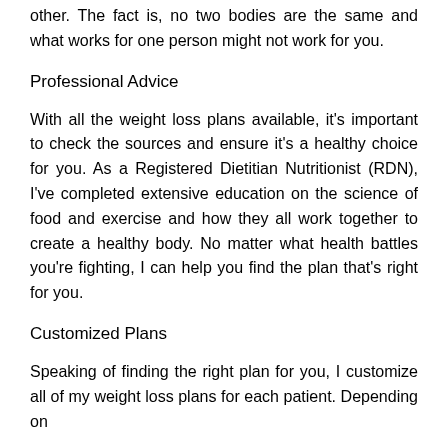other. The fact is, no two bodies are the same and what works for one person might not work for you.
Professional Advice
With all the weight loss plans available, it's important to check the sources and ensure it's a healthy choice for you. As a Registered Dietitian Nutritionist (RDN), I've completed extensive education on the science of food and exercise and how they all work together to create a healthy body. No matter what health battles you're fighting, I can help you find the plan that's right for you.
Customized Plans
Speaking of finding the right plan for you, I customize all of my weight loss plans for each patient. Depending on